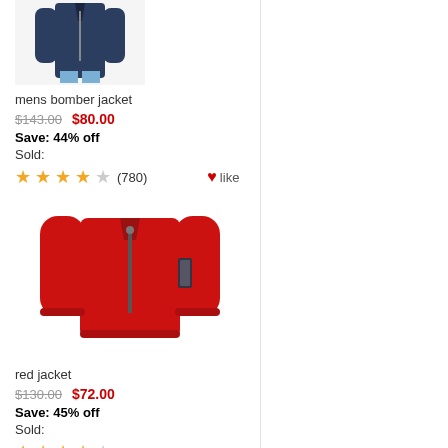[Figure (photo): Men's navy bomber jacket worn by a model, cropped at torso]
mens bomber jacket
$143.00  $80.00
Save: 44% off
Sold:
★★★★☆ (780)  ♥like
[Figure (photo): Red bomber jacket product photo on white background]
red jacket
$130.00  $72.00
Save: 45% off
Sold:
★★★★☆ (839)  ♥like